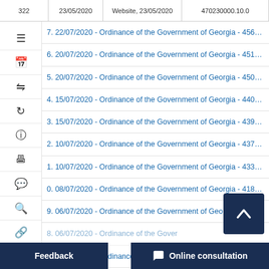322 | 23/05/2020 | Website, 23/05/2020 | 470230000.10.0
7. 22/07/2020 - Ordinance of the Government of Georgia - 456 - W
6. 20/07/2020 - Ordinance of the Government of Georgia - 451 - W
5. 20/07/2020 - Ordinance of the Government of Georgia - 450 - W
4. 15/07/2020 - Ordinance of the Government of Georgia - 440 - W
3. 15/07/2020 - Ordinance of the Government of Georgia - 439 - W
2. 10/07/2020 - Ordinance of the Government of Georgia - 437 - W
1. 10/07/2020 - Ordinance of the Government of Georgia - 433 - W
0. 08/07/2020 - Ordinance of the Government of Georgia - 418 - W
9. 06/07/2020 - Ordinance of the Government of Georgia - 414 - W
8. 06/07/2020 - Ordinance of the Government of Georgia - 416
7. 03/07/2020 - Ordinance of the Government of Georgia - 410